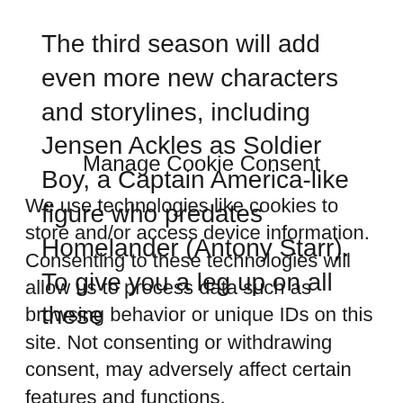The third season will add even more new characters and storylines, including Jensen Ackles as Soldier Boy, a Captain America-like figure who predates Homelander (Antony Starr). To give you a leg up on all these
Manage Cookie Consent
We use technologies like cookies to store and/or access device information. Consenting to these technologies will allow us to process data such as browsing behavior or unique IDs on this site. Not consenting or withdrawing consent, may adversely affect certain features and functions.
Accept
Cookie Policy